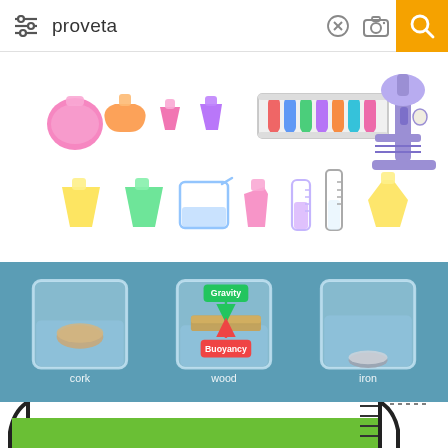[Figure (screenshot): Mobile search bar with text 'proveta', filter/settings icon on left, X and camera icons and yellow search button on right]
[Figure (illustration): Collection of laboratory glassware illustrations: flasks, beakers, graduated cylinders, test tube rack, and a purple microscope on white background]
[Figure (illustration): Blue-background diagram showing three glass beakers with water. Left beaker labeled 'cork' with cork submerged/floating. Middle beaker labeled 'wood' with wooden plank floating and arrows showing Gravity (down, green) and Buoyancy (up, red). Right beaker labeled 'iron' with iron piece sunk to bottom.]
[Figure (illustration): Bottom portion of a large laboratory graduated beaker/cylinder with green liquid, showing measurement tick marks on the right side. Beaker outline in black on white background.]